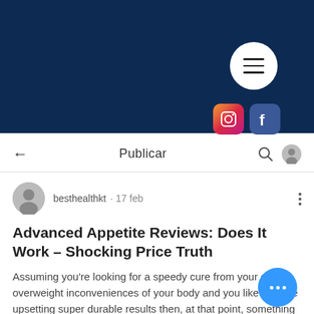[Figure (screenshot): Dark navy blue header banner with hamburger menu circle button and Instagram and Facebook social media icons]
Publicar
besthealthkt · 17 feb
Advanced Appetite Reviews: Does It Work – Shocking Price Truth
Assuming you're looking for a speedy cure from your own overweight inconveniences of your body and you likewise are upsetting super durable results then, at that point, something that will fulfill your requirements